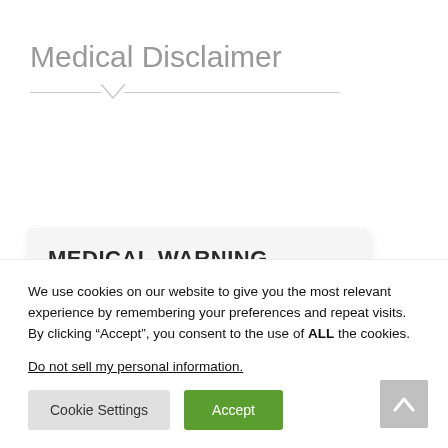Medical Disclaimer
[Figure (other): Medical Warning box with bold header 'MEDICAL WARNING' and subtitle 'This website is for informational']
We use cookies on our website to give you the most relevant experience by remembering your preferences and repeat visits. By clicking “Accept”, you consent to the use of ALL the cookies.
Do not sell my personal information.
Cookie Settings | Accept